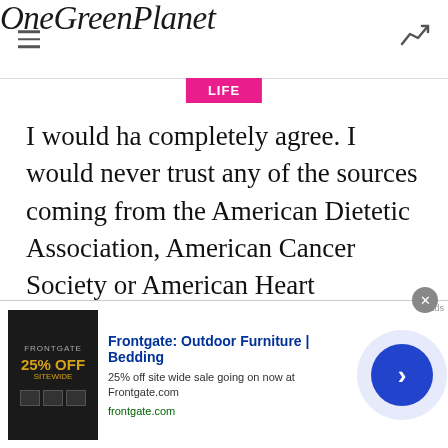OneGreenPlanet
LIFE
I would ha completely agree. I would never trust any of the sources coming from the American Dietetic Association, American Cancer Society or American Heart Association. Especially the Cancer Society. Where do you think they get their funding? And to
Frontgate: Outdoor Furniture | Bedding
25% off site wide sale going on now at Frontgate.com
frontgate.com